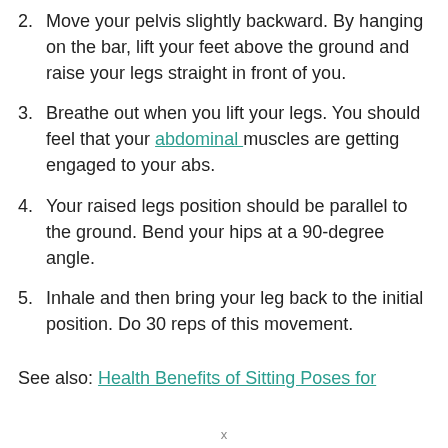2. Move your pelvis slightly backward. By hanging on the bar, lift your feet above the ground and raise your legs straight in front of you.
3. Breathe out when you lift your legs. You should feel that your abdominal muscles are getting engaged to your abs.
4. Your raised legs position should be parallel to the ground. Bend your hips at a 90-degree angle.
5. Inhale and then bring your leg back to the initial position. Do 30 reps of this movement.
See also: Health Benefits of Sitting Poses for